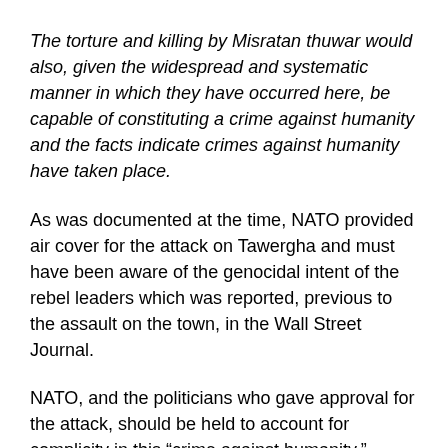The torture and killing by Misratan thuwar would also, given the widespread and systematic manner in which they have occurred here, be capable of constituting a crime against humanity and the facts indicate crimes against humanity have taken place.
As was documented at the time, NATO provided air cover for the attack on Tawergha and must have been aware of the genocidal intent of the rebel leaders which was reported, previous to the assault on the town, in the Wall Street Journal.
NATO, and the politicians who gave approval for the attack, should be held to account for complicity in this “crime against humanity.”
Mercenaries – a myth